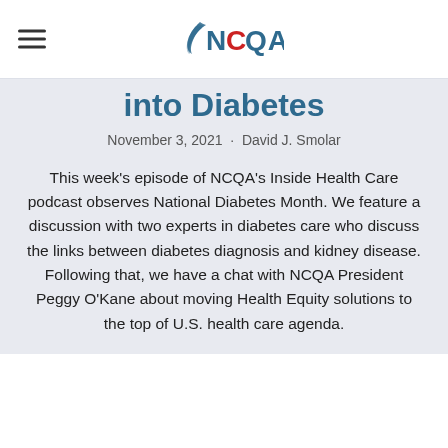NCQA
into Diabetes
November 3, 2021 · David J. Smolar
This week's episode of NCQA's Inside Health Care podcast observes National Diabetes Month. We feature a discussion with two experts in diabetes care who discuss the links between diabetes diagnosis and kidney disease. Following that, we have a chat with NCQA President Peggy O'Kane about moving Health Equity solutions to the top of U.S. health care agenda.